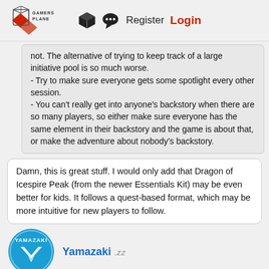GAMERS PLANE | Register | Login
not. The alternative of trying to keep track of a large initiative pool is so much worse.
- Try to make sure everyone gets some spotlight every other session.
- You can't really get into anyone's backstory when there are so many players, so either make sure everyone has the same element in their backstory and the game is about that, or make the adventure about nobody's backstory.
Damn, this is great stuff. I would only add that Dragon of Icespire Peak (from the newer Essentials Kit) may be even better for kids. It follows a quest-based format, which may be more intuitive for new players to follow.
Yamazaki zzZ
Jul 16, 2020 6:59 pm
Honestly, given the size of the group and the age range, Bowl